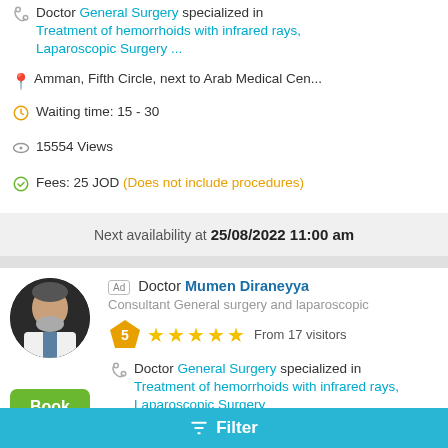Doctor General Surgery specialized in Treatment of hemorrhoids with infrared rays, Laparoscopic Surgery ...
Amman, Fifth Circle, next to Arab Medical Cen...
Waiting time: 15 - 30
15554 Views
Fees: 25 JOD (Does not include procedures)
Next availability at 25/08/2022 11:00 am
Ad Doctor Mumen Diraneyya
Consultant General surgery and laparoscopic
5 ★★★★★ From 17 visitors
Doctor General Surgery specialized in Treatment of hemorrhoids with infrared rays, Laparoscopic Surgery
Filter